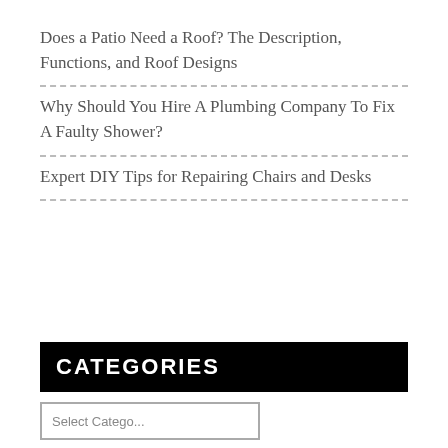Does a Patio Need a Roof? The Description, Functions, and Roof Designs
Why Should You Hire A Plumbing Company To Fix A Faulty Shower?
Expert DIY Tips for Repairing Chairs and Desks
CATEGORIES
Select Catego...